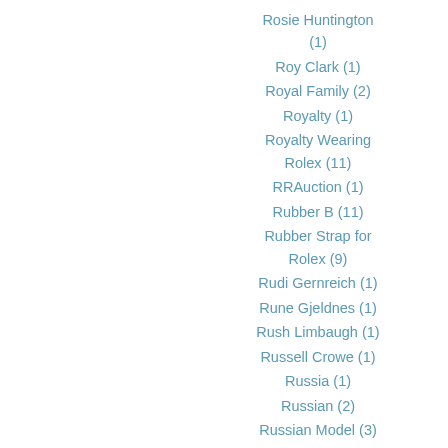Rosie Huntington (1)
Roy Clark (1)
Royal Family (2)
Royalty (1)
Royalty Wearing Rolex (11)
RRAuction (1)
Rubber B (11)
Rubber Strap for Rolex (9)
Rudi Gernreich (1)
Rune Gjeldnes (1)
Rush Limbaugh (1)
Russell Crowe (1)
Russia (1)
Russian (2)
Russian Model (3)
Ryan Gosling (3)
S ailing Video (1)